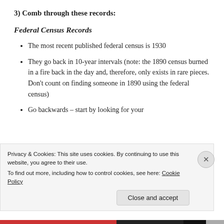3) Comb through these records:
Federal Census Records
The most recent published federal census is 1930
They go back in 10-year intervals (note: the 1890 census burned in a fire back in the day and, therefore, only exists in rare pieces. Don't count on finding someone in 1890 using the federal census)
Go backwards – start by looking for your
Privacy & Cookies: This site uses cookies. By continuing to use this website, you agree to their use.
To find out more, including how to control cookies, see here: Cookie Policy
Close and accept